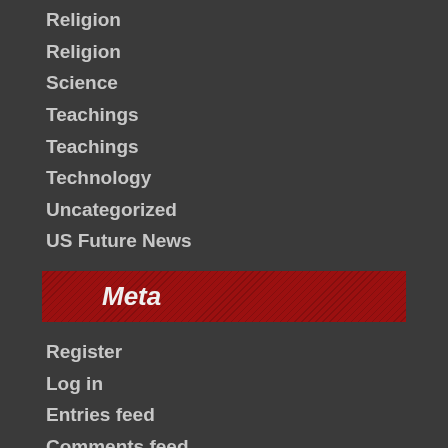Religion
Religion
Science
Teachings
Teachings
Technology
Uncategorized
US Future News
Meta
Register
Log in
Entries feed
Comments feed
WordPress.org
Pages
Extraterrestrial.
UFO Pictures.
God. Allah. Yahweh.